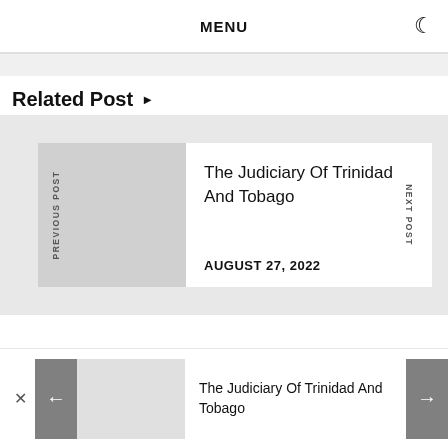MENU
Related Post ▶
The Judiciary Of Trinidad And Tobago
AUGUST 27, 2022
The Judiciary Of Trinidad And Tobago